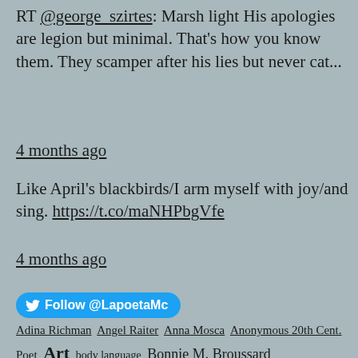RT @george_szirtes: Marsh light His apologies are legion but minimal. That's how you know them. They scamper after his lies but never cat...
4 months ago
Like April's blackbirds/I arm myself with joy/and sing. https://t.co/maNHPbgVfe
4 months ago
Follow @LapoetaMc
Adina Richman
Angel Raiter
Anna Mosca
Anonymous 20th Cent. Poet
Art
body language
Bonnie M. Broussard
Bonnie McClellan
Brad Frederiksen
Calabria